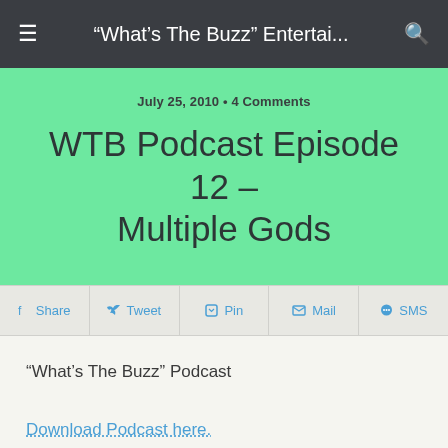"What's The Buzz" Entertai...
July 25, 2010 • 4 Comments
WTB Podcast Episode 12 – Multiple Gods
Share  Tweet  Pin  Mail  SMS
"What's The Buzz" Podcast
Download Podcast here.